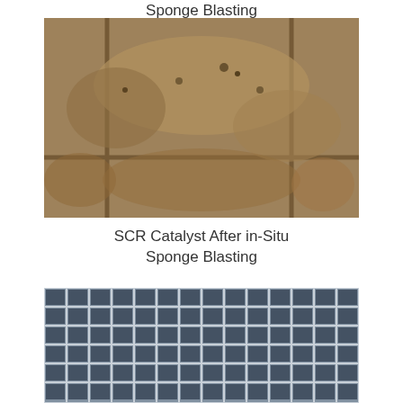Sponge Blasting
[Figure (photo): Close-up photograph of an SCR catalyst before sponge blasting, showing cells heavily clogged and coated with thick layers of brown/tan dust and debris.]
SCR Catalyst After in-Situ Sponge Blasting
[Figure (photo): Photograph of an SCR catalyst after in-situ sponge blasting, showing clean grid of square cells with dark interiors, dust and debris removed.]